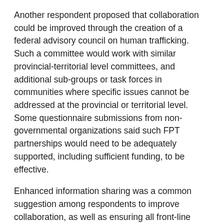Another respondent proposed that collaboration could be improved through the creation of a federal advisory council on human trafficking. Such a committee would work with similar provincial-territorial level committees, and additional sub-groups or task forces in communities where specific issues cannot be addressed at the provincial or territorial level. Some questionnaire submissions from non-governmental organizations said such FPT partnerships would need to be adequately supported, including sufficient funding, to be effective.
Enhanced information sharing was a common suggestion among respondents to improve collaboration, as well as ensuring all front-line workers and professionals alike are being trained and are aware of the resources available to them from other organizations and stakeholders.
Tools to increase coordination and collaboration could include an online portal or one-stop database, regular surveys or consultation meetings, and an annual summit